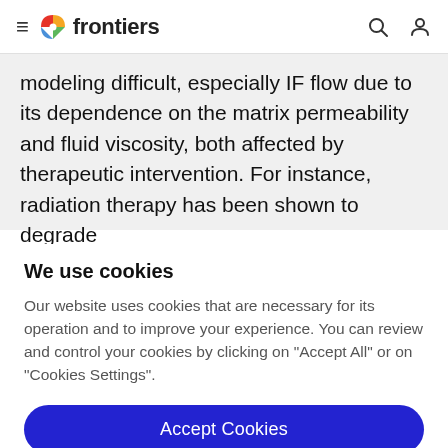frontiers
modeling difficult, especially IF flow due to its dependence on the matrix permeability and fluid viscosity, both affected by therapeutic intervention. For instance, radiation therapy has been shown to degrade
We use cookies
Our website uses cookies that are necessary for its operation and to improve your experience. You can review and control your cookies by clicking on "Accept All" or on "Cookies Settings".
Accept Cookies
Cookies Settings